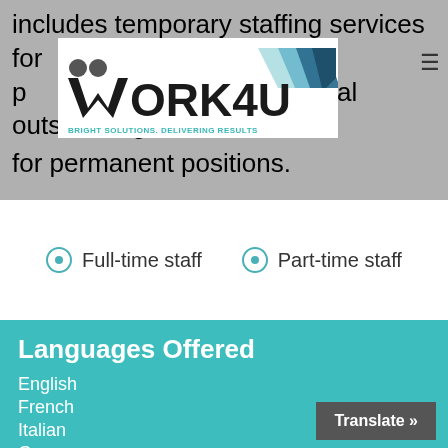includes temporary staffing services for p… total outsourcing for permanent positions.
[Figure (logo): Work4U logo with tagline 'BRIGHT SOLUTIONS. DELIVERING RESULTS' and geometric teal/blue shapes]
Full-time staff
Part-time staff
Languages Offered
English
French
Italian
German
Japanese
Korean
Spanish
Thai